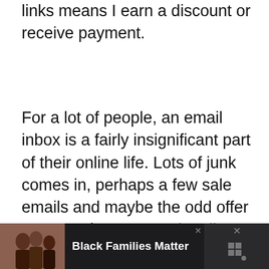links means I earn a discount or receive payment.
For a lot of people, an email inbox is a fairly insignificant part of their online life. Lots of junk comes in, perhaps a few sale emails and maybe the odd offer or two. When you work online, particularly as a blogger, your email inbox is an essential part of your online life and something that can cause a lot of stress.
[Figure (photo): Advertisement banner at the bottom showing a family photo with text 'Black Families Matter' on dark background]